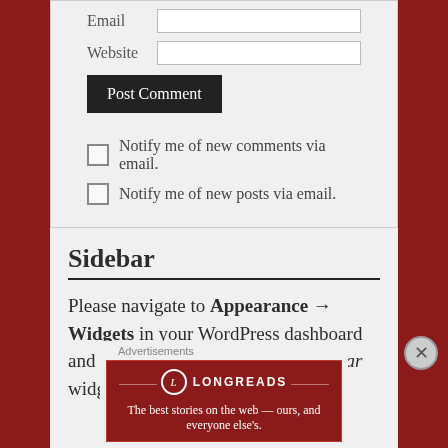Email (input field)
Website (input field)
Post Comment (button)
Notify me of new comments via email.
Notify me of new posts via email.
Sidebar
Please navigate to Appearance → Widgets in your WordPress dashboard and add some widgets into the Sidebar widget area.
Advertisements
[Figure (other): Longreads advertisement banner: red background with Longreads logo and tagline 'The best stories on the web — ours, and everyone else's.']